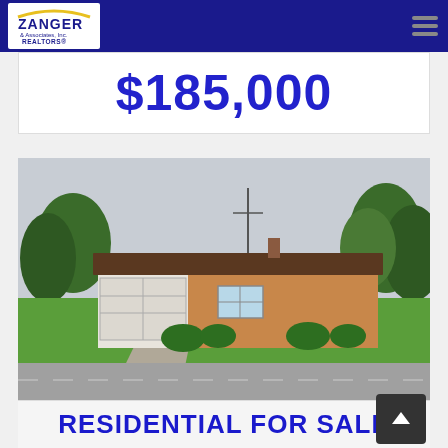Zanger & Associates, Inc. REALTORS — Working For You Since 1962
$185,000
[Figure (photo): Exterior photo of a single-story brick ranch house with attached two-car garage, well-manicured green lawn, and trimmed hedges, with trees visible in background under overcast sky]
RESIDENTIAL FOR SALE